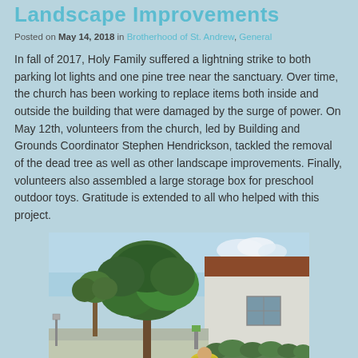Landscape Improvements
Posted on May 14, 2018 in Brotherhood of St. Andrew, General
In fall of 2017, Holy Family suffered a lightning strike to both parking lot lights and one pine tree near the sanctuary. Over time, the church has been working to replace items both inside and outside the building that were damaged by the surge of power. On May 12th, volunteers from the church, led by Building and Grounds Coordinator Stephen Hendrickson, tackled the removal of the dead tree as well as other landscape improvements. Finally, volunteers also assembled a large storage box for preschool outdoor toys. Gratitude is extended to all who helped with this project.
[Figure (photo): Outdoor photo showing a large oak tree in a parking lot area near a white building with a brown roof. A person in a yellow shirt is visible in the foreground working near hedges.]